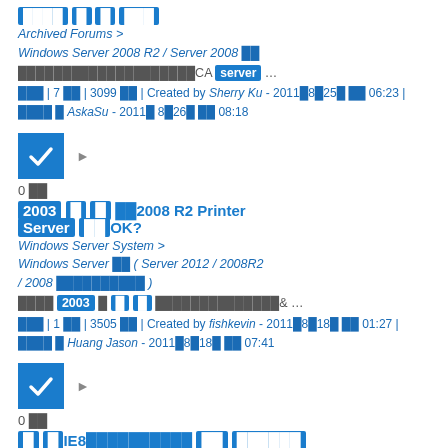████ █ █ ███
Archived Forums > Windows Server 2008 R2 / Server 2008 ██
████████████████████CA server …
███ | 7 ██ | 3099 ██ | Created by Sherry Ku - 2011█8█25█ ██ 06:23 | ████ █ AskaSu - 2011█8█26█ ██ 08:18
[Figure (infographic): Blue checkmark box icon with right-pointing arrow]
0 ██
2003 █ █ ██2008 R2 Printer Server ██OK?
Windows Server System > Windows Server ██ ( Server 2012 / 2008R2 / 2008 ██████████ )
████ 2003 █ █ █ ██████████████& …
███ | 1 ██ | 3505 ██ | Created by fishkevin - 2011█8█18█ ██ 01:27 | ████ █ Huang Jason - 2011█8█18█ ██ 07:41
[Figure (infographic): Blue checkmark box icon with right-pointing arrow]
0 ██
█ █IE8██████████ ██ ██████